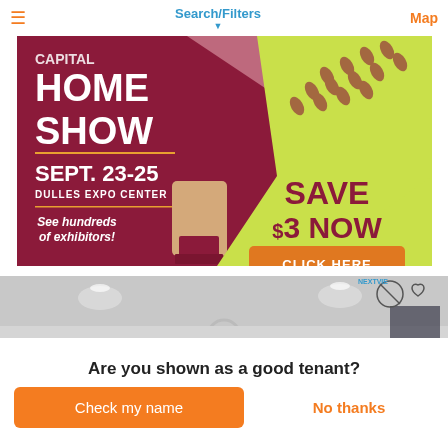Search/Filters  Map
[Figure (illustration): Capital Home Show advertisement banner. Dark red/maroon left section with white text: CAPITAL HOME SHOW, SEPT. 23-25, DULLES EXPO CENTER, See hundreds of exhibitors! Yellow-green right section with a paint brush graphic and maroon/dark red text: SAVE $3 NOW, orange button: CLICK HERE]
[Figure (photo): Interior room photo showing white painted ceiling with recessed lighting, a circular pendant light fixture, and a window/door in the background. NextView logo icons (a circle with slash and a heart) visible in top right.]
Are you shown as a good tenant?
Check my name
No thanks